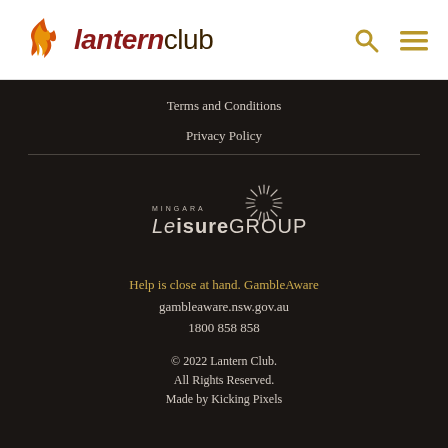lanternclub
Terms and Conditions
Privacy Policy
[Figure (logo): Mingara Leisure Group logo with starburst graphic]
Help is close at hand. GambleAware
gambleaware.nsw.gov.au
1800 858 858
© 2022 Lantern Club. All Rights Reserved. Made by Kicking Pixels